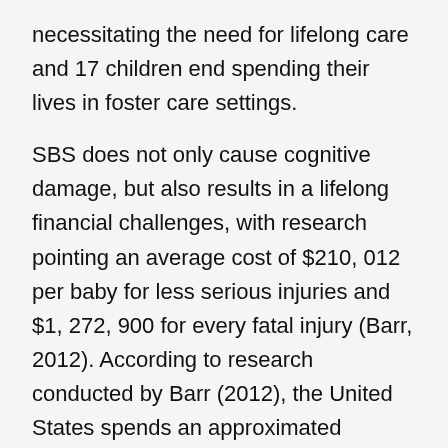necessitating the need for lifelong care and 17 children end spending their lives in foster care settings.
SBS does not only cause cognitive damage, but also results in a lifelong financial challenges, with research pointing an average cost of $210, 012 per baby for less serious injuries and $1, 272, 900 for every fatal injury (Barr, 2012). According to research conducted by Barr (2012), the United States spends an approximated financial expense of $124 billion in the prevention, treatment and caring of the victims of AHT. The signs and symptoms of AHT include irritation, vomiting, fever, lethargy, apnea, tremors, excessive crying, and delays in development. The infants usually portray